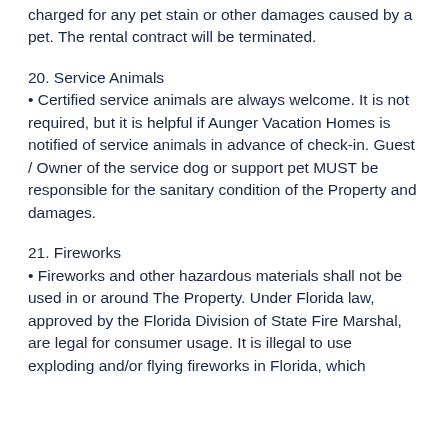charged for any pet stain or other damages caused by a pet. The rental contract will be terminated.
20. Service Animals
• Certified service animals are always welcome. It is not required, but it is helpful if Aunger Vacation Homes is notified of service animals in advance of check-in. Guest / Owner of the service dog or support pet MUST be responsible for the sanitary condition of the Property and damages.
21. Fireworks
• Fireworks and other hazardous materials shall not be used in or around The Property. Under Florida law, approved by the Florida Division of State Fire Marshal, are legal for consumer usage. It is illegal to use exploding and/or flying fireworks in Florida, which